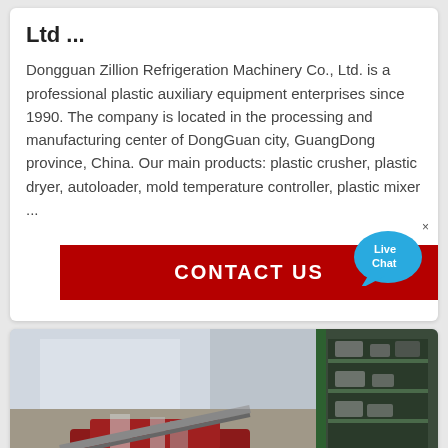Ltd ...
Dongguan Zillion Refrigeration Machinery Co., Ltd. is a professional plastic auxiliary equipment enterprises since 1990. The company is located in the processing and manufacturing center of DongGuan city, GuangDong province, China. Our main products: plastic crusher, plastic dryer, autoloader, mold temperature controller, plastic mixer ...
[Figure (screenshot): Red CONTACT US button with Live Chat bubble overlay]
[Figure (photo): Industrial machinery photo showing plastic processing equipment in a factory setting with red and green metal machinery components]